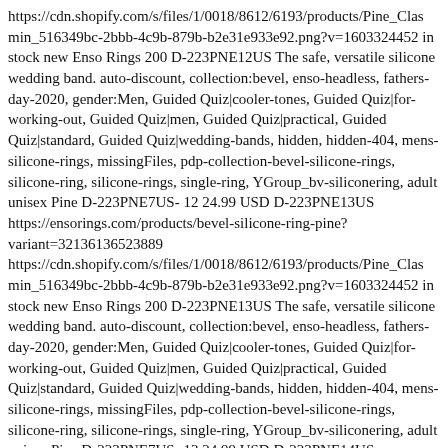https://cdn.shopify.com/s/files/1/0018/8612/6193/products/Pine_Clas min_516349bc-2bbb-4c9b-879b-b2e31e933e92.png?v=1603324452 in stock new Enso Rings 200 D-223PNE12US The safe, versatile silicone wedding band. auto-discount, collection:bevel, enso-headless, fathers-day-2020, gender:Men, Guided Quiz|cooler-tones, Guided Quiz|for-working-out, Guided Quiz|men, Guided Quiz|practical, Guided Quiz|standard, Guided Quiz|wedding-bands, hidden, hidden-404, mens-silicone-rings, missingFiles, pdp-collection-bevel-silicone-rings, silicone-ring, silicone-rings, single-ring, YGroup_bv-siliconering, adult unisex Pine D-223PNE7US- 12 24.99 USD D-223PNE13US https://ensorings.com/products/bevel-silicone-ring-pine?variant=32136136523889 https://cdn.shopify.com/s/files/1/0018/8612/6193/products/Pine_Clas min_516349bc-2bbb-4c9b-879b-b2e31e933e92.png?v=1603324452 in stock new Enso Rings 200 D-223PNE13US The safe, versatile silicone wedding band. auto-discount, collection:bevel, enso-headless, fathers-day-2020, gender:Men, Guided Quiz|cooler-tones, Guided Quiz|for-working-out, Guided Quiz|men, Guided Quiz|practical, Guided Quiz|standard, Guided Quiz|wedding-bands, hidden, hidden-404, mens-silicone-rings, missingFiles, pdp-collection-bevel-silicone-rings, silicone-ring, silicone-rings, single-ring, YGroup_bv-siliconering, adult unisex Pine D-223PNE7US- 13 24.99 USD D-223PNE14US https://ensorings.com/products/bevel-silicone-ring-pine?